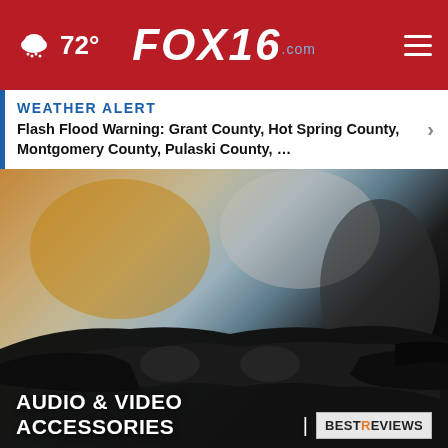FOX16.com — 72° weather, hamburger menu
WEATHER ALERT
Flash Flood Warning: Grant County, Hot Spring County, Montgomery County, Pulaski County, …
[Figure (photo): Blurred background with VR headset / audio accessories in dark tones, foreground shows black VR headset controllers]
AUDIO & VIDEO ACCESSORIES
BESTREVIEWS